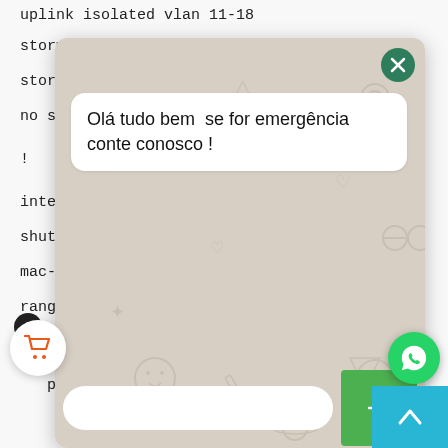uplink isolated vlan 11-18
storm-contr
storm-contr
no shutdown
!
interface gp
shutdown
mac-addres
range max-
switchport mode trunk
port trunk allowed vlan 11,20,100
[Figure (screenshot): WhatsApp chat overlay showing a message bubble with text 'Olá tudo bem se for emergência conte conosco !' on a patterned beige background with a close (X) button, a text input field, a green send button, a cart icon, a WhatsApp floating button, and a cyan scroll-up button.]